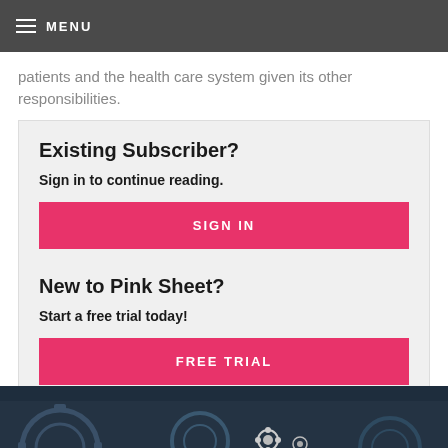MENU
patients and the health care system given its other responsibilities.
Existing Subscriber?
Sign in to continue reading.
SIGN IN
New to Pink Sheet?
Start a free trial today!
FREE TRIAL
[Figure (photo): Dark background with gears/cogs imagery at bottom of page]